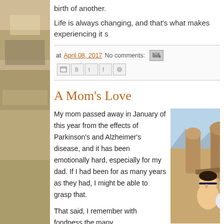birth of another.
Life is always changing, and that's what makes experiencing it s
at April 08, 2017   No comments:
A Mom's Love
My mom passed away in January of this year from the effects of Parkinson's and Alzheimer's disease, and it has been emotionally hard, especially for my dad. If I had been for as many years as they had, I might be able to grasp that.
That said, I remember with fondness the many
[Figure (photo): Family photo outdoors with desert rock formations and mountains in background; two people smiling in foreground]